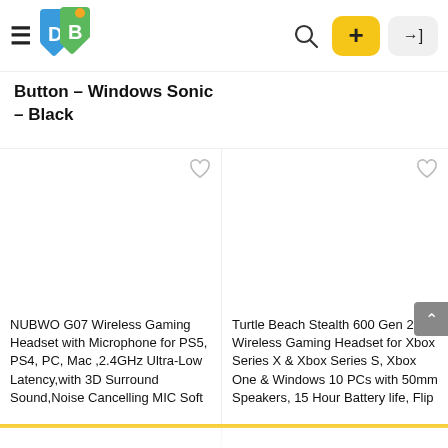DealBargain navigation bar with logo, search, add, and login buttons
Button – Windows Sonic – Black
[Figure (other): Product image placeholder area for left product (NUBWO G07 headset)]
[Figure (other): Product image placeholder area for right product (Turtle Beach Stealth 600 Gen 2 headset)]
NUBWO G07 Wireless Gaming Headset with Microphone for PS5, PS4, PC, Mac ,2.4GHz Ultra-Low Latency,with 3D Surround Sound,Noise Cancelling MIC Soft
Turtle Beach Stealth 600 Gen 2 Wireless Gaming Headset for Xbox Series X & Xbox Series S, Xbox One & Windows 10 PCs with 50mm Speakers, 15 Hour Battery life, Flip